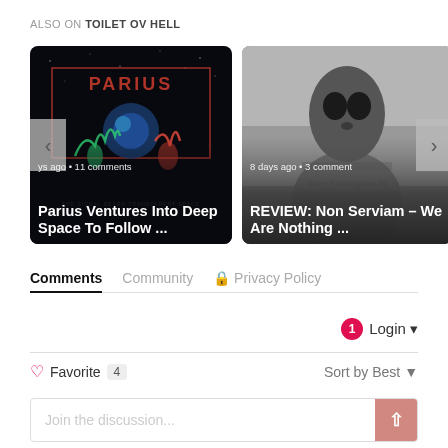ALSO ON TOILET OV HELL
[Figure (screenshot): Card 1: Album art for Parius – dark space-themed cover with alien creatures, text overlay: 'ys ago • 11 comments', title 'Parius Ventures Into Deep Space To Follow ...']
[Figure (screenshot): Card 2: Black and white photo of masked figure, text overlay: '8 days ago • 3 comment', title 'REVIEW: Non Serviam – We Are Nothing ...']
Comments	Community	🔒 Privacy Policy
Login ▾
♡ Favorite  4	Sort by Best ▾
Join the discussion...